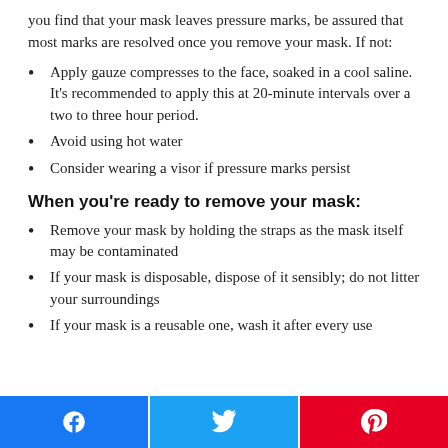you find that your mask leaves pressure marks, be assured that most marks are resolved once you remove your mask. If not:
Apply gauze compresses to the face, soaked in a cool saline. It's recommended to apply this at 20-minute intervals over a two to three hour period.
Avoid using hot water
Consider wearing a visor if pressure marks persist
When you're ready to remove your mask:
Remove your mask by holding the straps as the mask itself may be contaminated
If your mask is disposable, dispose of it sensibly; do not litter your surroundings
If your mask is a reusable one, wash it after every use
[Figure (other): Social share buttons: Facebook (blue), Twitter (light blue), Pinterest (red)]